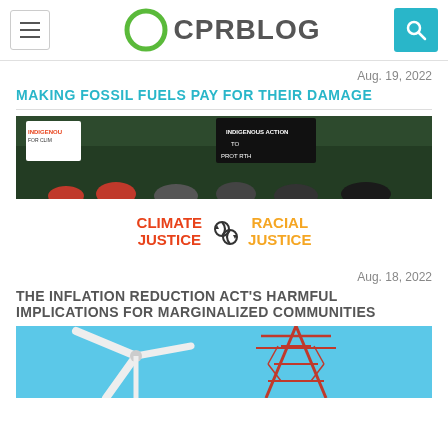CPR BLOG
Aug. 19, 2022
MAKING FOSSIL FUELS PAY FOR THEIR DAMAGE
[Figure (photo): Protesters holding a banner reading CLIMATE JUSTICE and RACIAL JUSTICE at a demonstration]
Aug. 18, 2022
THE INFLATION REDUCTION ACT'S HARMFUL IMPLICATIONS FOR MARGINALIZED COMMUNITIES
[Figure (photo): Wind turbine and electrical power transmission tower against a blue sky]